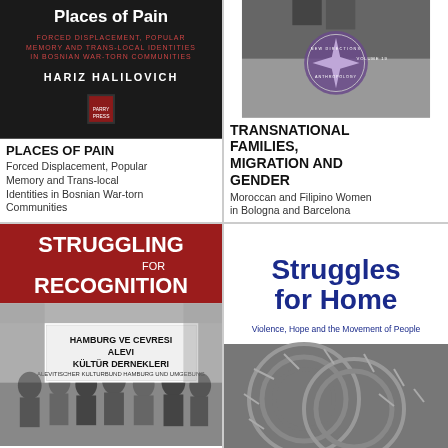[Figure (photo): Book cover: Places of Pain by Hariz Halilovich – dark background with red/white text]
PLACES OF PAIN
Forced Displacement, Popular Memory and Trans-local Identities in Bosnian War-torn Communities
[Figure (photo): Book cover: Transnational Families, Migration and Gender – grayscale with purple compass emblem]
TRANSNATIONAL FAMILIES, MIGRATION AND GENDER
Moroccan and Filipino Women in Bologna and Barcelona
[Figure (photo): Book cover: Struggling for Recognition – red background with black and white protest photo showing banner Hamburg ve Cevresi Alevi Kultur Dernekleri]
[Figure (photo): Book cover: Struggles for Home – Violence, Hope and the Movement of People – white background with dark blue title, barbed wire image at bottom]